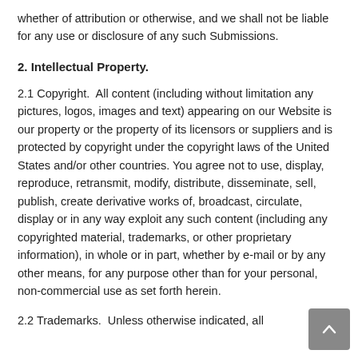whether of attribution or otherwise, and we shall not be liable for any use or disclosure of any such Submissions.
2. Intellectual Property.
2.1 Copyright.  All content (including without limitation any pictures, logos, images and text) appearing on our Website is our property or the property of its licensors or suppliers and is protected by copyright under the copyright laws of the United States and/or other countries. You agree not to use, display, reproduce, retransmit, modify, distribute, disseminate, sell, publish, create derivative works of, broadcast, circulate, display or in any way exploit any such content (including any copyrighted material, trademarks, or other proprietary information), in whole or in part, whether by e-mail or by any other means, for any purpose other than for your personal, non-commercial use as set forth herein.
2.2 Trademarks.  Unless otherwise indicated, all